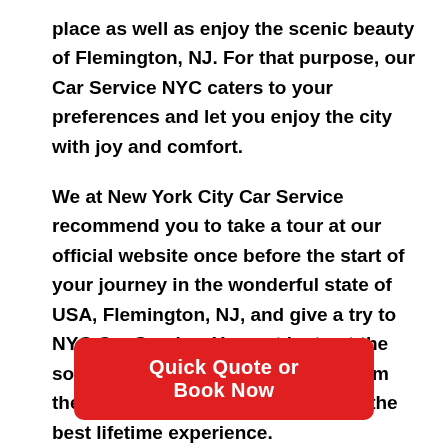place as well as enjoy the scenic beauty of Flemington, NJ. For that purpose, our Car Service NYC caters to your preferences and let you enjoy the city with joy and comfort.
We at New York City Car Service recommend you to take a tour at our official website once before the start of your journey in the wonderful state of USA, Flemington, NJ, and give a try to NYC Car Service. You not just get the sophisticated high-end services from the Car Service New York, but also the best lifetime experience.
Quick Quote or Book Now